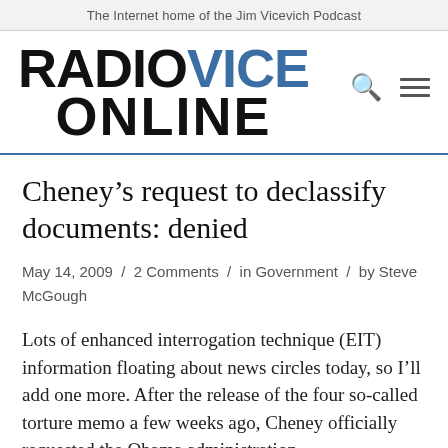The Internet home of the Jim Vicevich Podcast
[Figure (logo): RadioVice Online logo with RADIO and ONLINE in black bold text and VICE in blue bold text, with search and hamburger menu icons on the right]
Cheney’s request to declassify documents: denied
May 14, 2009 / 2 Comments / in Government / by Steve McGough
Lots of enhanced interrogation technique (EIT) information floating about news circles today, so I’ll add one more. After the release of the four so-called torture memo a few weeks ago, Cheney officially requested the Obama administration